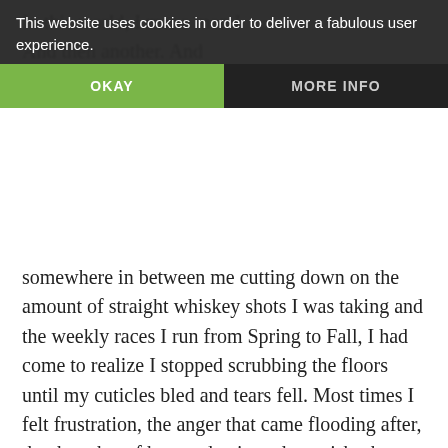This website uses cookies in order to deliver a fabulous user experience.
OKAY   MORE INFO
somewhere in between me cutting down on the amount of straight whiskey shots I was taking and the weekly races I run from Spring to Fall, I had come to realize I stopped scrubbing the floors until my cuticles bled and tears fell. Most times I felt frustration, the anger that came flooding after, the thoughts of hurt and pain and anguish- those all kind of just. Well...
they just stopped.
I always wanted children, but that's a hell of a lot different than having them.
I want to win the lottery, too... but I don't play the lottery